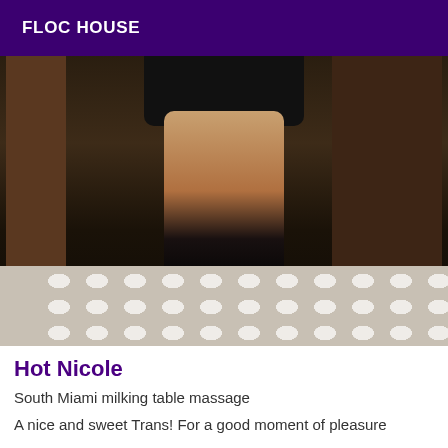FLOC HOUSE
[Figure (photo): A person in a black sequined mini dress, fishnet stockings, and black boots, photographed from chest down in what appears to be a hotel bathroom or dressing area with a patterned tile floor and dark wood furniture.]
Hot Nicole
South Miami milking table massage
A nice and sweet Trans! For a good moment of pleasure